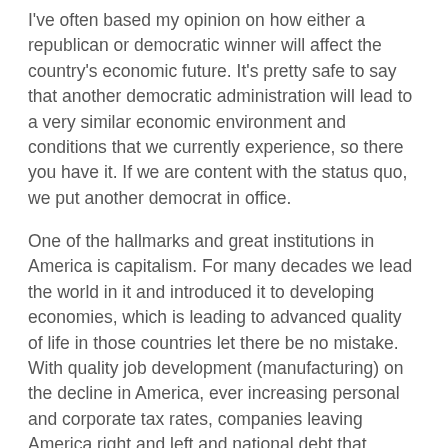I've often based my opinion on how either a republican or democratic winner will affect the country's economic future. It's pretty safe to say that another democratic administration will lead to a very similar economic environment and conditions that we currently experience, so there you have it. If we are content with the status quo, we put another democrat in office.
One of the hallmarks and great institutions in America is capitalism. For many decades we lead the world in it and introduced it to developing economies, which is leading to advanced quality of life in those countries let there be no mistake. With quality job development (manufacturing) on the decline in America, ever increasing personal and corporate tax rates, companies leaving America right and left and national debt that threatens national security; we need a different perspective and focus on capitalism. Since our